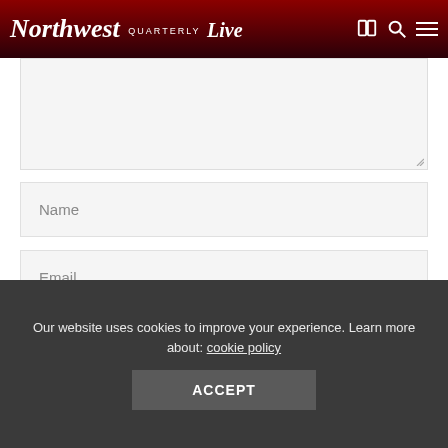Northwest Quarterly Live
[Figure (screenshot): Textarea input field with resize handle]
Name
Email
Website
Save my name, email, and website in this browser for the next time I comment.
Our website uses cookies to improve your experience. Learn more about: cookie policy
Accept